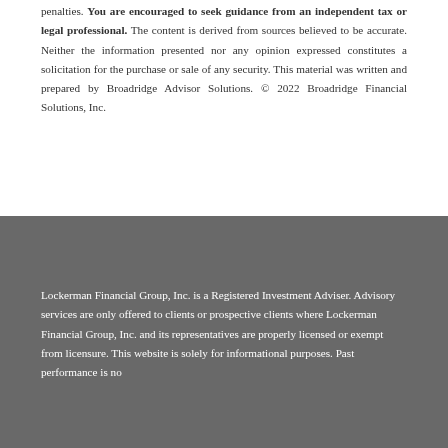penalties. You are encouraged to seek guidance from an independent tax or legal professional. The content is derived from sources believed to be accurate. Neither the information presented nor any opinion expressed constitutes a solicitation for the purchase or sale of any security. This material was written and prepared by Broadridge Advisor Solutions. © 2022 Broadridge Financial Solutions, Inc.
Lockerman Financial Group, Inc. is a Registered Investment Adviser. Advisory services are only offered to clients or prospective clients where Lockerman Financial Group, Inc. and its representatives are properly licensed or exempt from licensure. This website is solely for informational purposes. Past performance is no